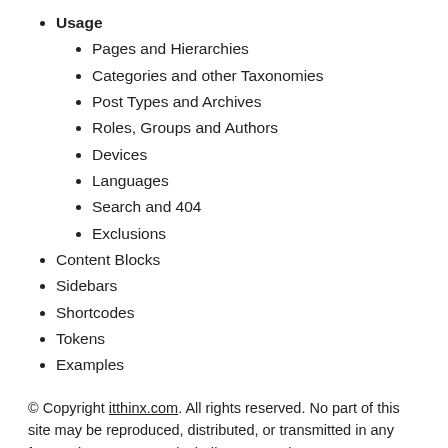Usage
Pages and Hierarchies
Categories and other Taxonomies
Post Types and Archives
Roles, Groups and Authors
Devices
Languages
Search and 404
Exclusions
Content Blocks
Sidebars
Shortcodes
Tokens
Examples
© Copyright itthinx.com. All rights reserved. No part of this site may be reproduced, distributed, or transmitted in any form or by any means, including screenshots, copy & paste, photocopying, recording, or other electronic or mechanical methods, without the prior written permission of the copyright holder.